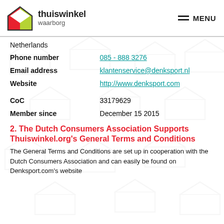[Figure (logo): Thuiswinkel Waarborg logo with house/envelope icon and text]
Netherlands
| Phone number | 085 - 888 3276 |
| Email address | klantenservice@denksport.nl |
| Website | http://www.denksport.com |
| CoC | 33179629 |
| Member since | December 15 2015 |
2. The Dutch Consumers Association Supports Thuiswinkel.org's General Terms and Conditions
The General Terms and Conditions are set up in cooperation with the Dutch Consumers Association and can easily be found on Denksport.com's website